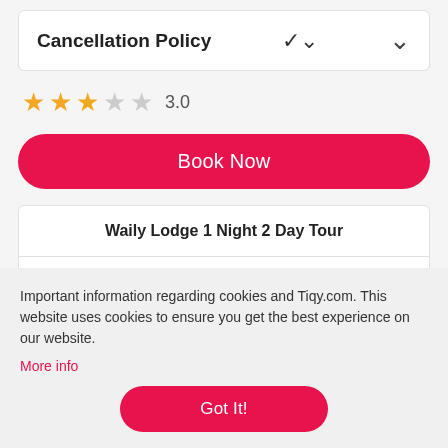Cancellation Policy
3.0
Book Now
Waily Lodge 1 Night 2 Day Tour
Location
Important information regarding cookies and Tiqy.com. This website uses cookies to ensure you get the best experience on our website.
More info
Got It!